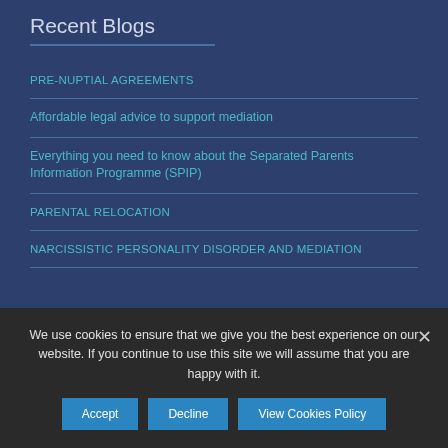Recent Blogs
PRE-NUPTIAL AGREEMENTS
Affordable legal advice to support mediation
Everything you need to know about the Separated Parents Information Programme (SPIP)
PARENTAL RELOCATION
NARCISSISTIC PERSONALITY DISORDER AND MEDIATION
We use cookies to ensure that we give you the best experience on our website. If you continue to use this site we will assume that you are happy with it.